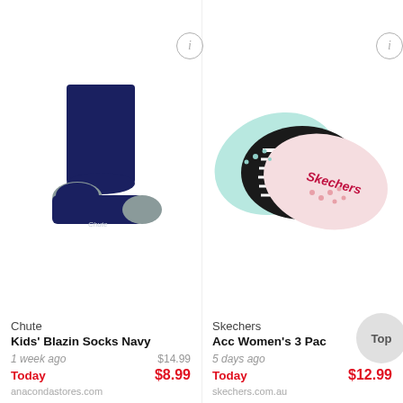[Figure (photo): Navy blue kids' crew sock by Chute, shown standing upright with grey heel and toe detail]
Chute
Kids' Blazin Socks Navy
1 week ago
$14.99
Today
$8.99
anacondastores.com
[Figure (photo): Skechers 3-pack of women's no-show socks in mint, black striped, and pink/white floral patterns]
Skechers
Acc Women's 3 Pac
5 days ago
Today
$12.99
skechers.com.au